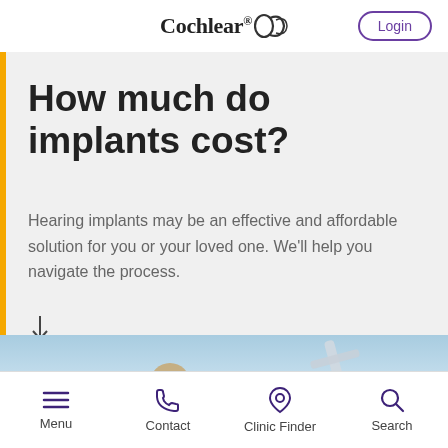Cochlear® Login
How much do implants cost?
Hearing implants may be an effective and affordable solution for you or your loved one. We'll help you navigate the process.
[Figure (photo): Partial view of an older man outdoors near a propeller aircraft, sky in background]
Menu  Contact  Clinic Finder  Search